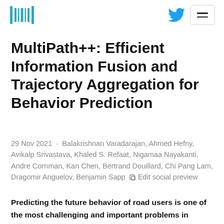HuggingFace logo and navigation bar with Twitter icon and menu button
MultiPath++: Efficient Information Fusion and Trajectory Aggregation for Behavior Prediction
29 Nov 2021 · Balakrishnan Varadarajan, Ahmed Hefny, Avikalp Srivastava, Khaled S. Refaat, Nigamaa Nayakanti, Andre Cornman, Kan Chen, Bertrand Douillard, Chi Pang Lam, Dragomir Anguelov, Benjamin Sapp Edit social preview
Predicting the future behavior of road users is one of the most challenging and important problems in